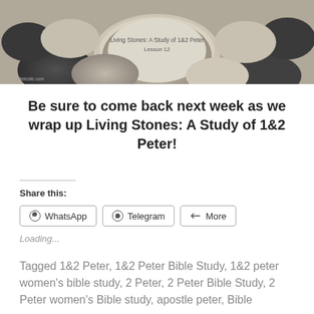[Figure (photo): Photo of smooth river stones/pebbles with text overlay reading 'Living Stones: A Study of 1&2 Peter, Lesson 12' and watermark 'michelleleslie.com']
Be sure to come back next week as we wrap up Living Stones: A Study of 1&2 Peter!
Share this:
WhatsApp  Telegram  More
Loading...
Tagged 1&2 Peter, 1&2 Peter Bible Study, 1&2 peter women's bible study, 2 Peter, 2 Peter Bible Study, 2 Peter women's Bible study, apostle peter, Bible